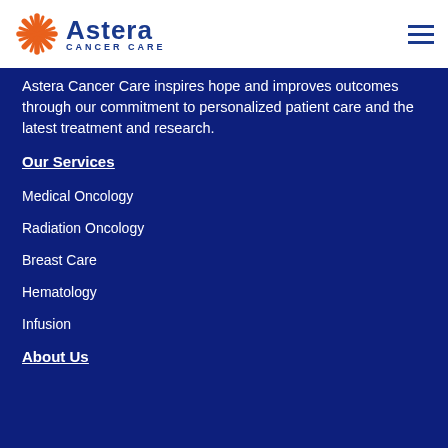[Figure (logo): Astera Cancer Care logo with orange starburst/asterisk icon and blue text reading 'Astera CANCER CARE']
Astera Cancer Care inspires hope and improves outcomes through our commitment to personalized patient care and the latest treatment and research.
Our Services
Medical Oncology
Radiation Oncology
Breast Care
Hematology
Infusion
About Us